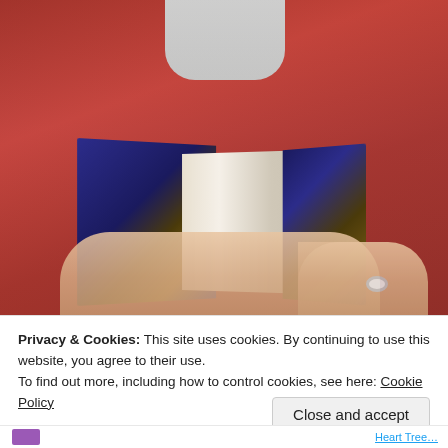[Figure (photo): A woman in a red wrap dress sitting and holding an open book with dark blue/purple cover with illustrated art. Only her torso and hands are visible. She is wearing a ring on her right hand.]
Privacy & Cookies: This site uses cookies. By continuing to use this website, you agree to their use.
To find out more, including how to control cookies, see here: Cookie Policy
Close and accept